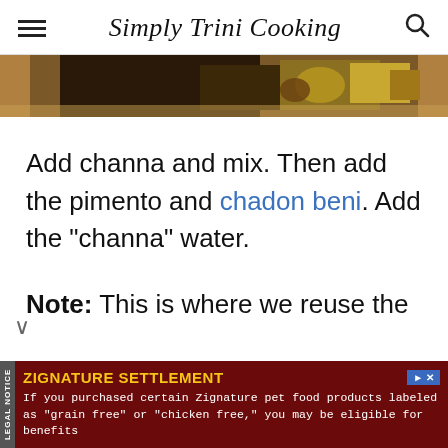Simply Trini Cooking
[Figure (photo): Close-up food photo showing cooked channa dish with dark and golden tones]
Add channa and mix. Then add the pimento and chadon beni. Add the "channa" water.
Note: This is where we reuse the
[Figure (other): Advertisement banner: ZIGNATURE SETTLEMENT - If you purchased certain Zignature pet food products labeled as "grain free" or "chicken free," you may be eligible for benefits]